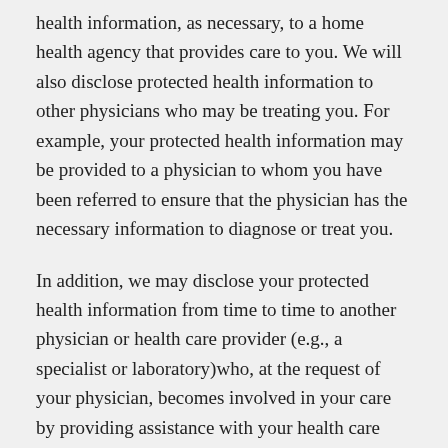health information, as necessary, to a home health agency that provides care to you. We will also disclose protected health information to other physicians who may be treating you. For example, your protected health information may be provided to a physician to whom you have been referred to ensure that the physician has the necessary information to diagnose or treat you.
In addition, we may disclose your protected health information from time to time to another physician or health care provider (e.g., a specialist or laboratory)who, at the request of your physician, becomes involved in your care by providing assistance with your health care diagnosis or treatment to your physician.
Payment: Your protected health information will be used,